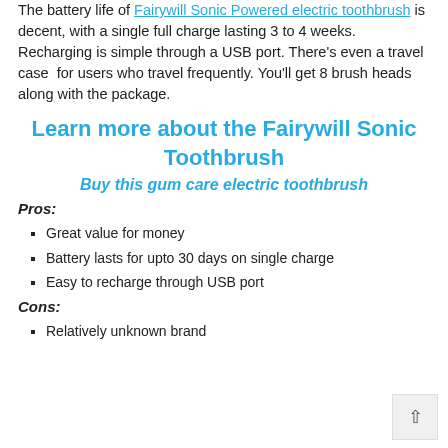The battery life of Fairywill Sonic Powered electric toothbrush is decent, with a single full charge lasting 3 to 4 weeks. Recharging is simple through a USB port. There's even a travel case for users who travel frequently. You'll get 8 brush heads along with the package.
Learn more about the Fairywill Sonic Toothbrush
Buy this gum care electric toothbrush
Pros:
Great value for money
Battery lasts for upto 30 days on single charge
Easy to recharge through USB port
Cons:
Relatively unknown brand